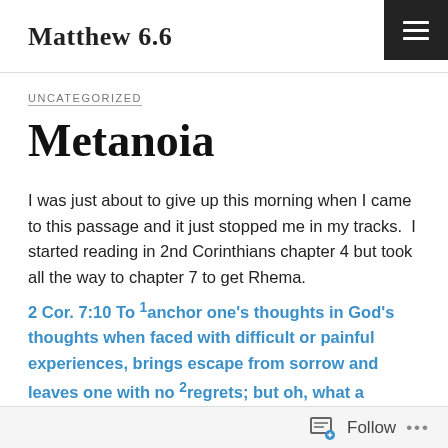Matthew 6.6
UNCATEGORIZED
Metanoia
I was just about to give up this morning when I came to this passage and it just stopped me in my tracks.  I started reading in 2nd Corinthians chapter 4 but took all the way to chapter 7 to get Rhema.
2 Cor. 7:10 To 1anchor one's thoughts in God's thoughts when faced with difficult or painful experiences, brings escape from sorrow and leaves one with no 2regrets; but oh, what a dreadful contrast is the world system (of the law of karma and works) which adds 2regret upon
Follow ...